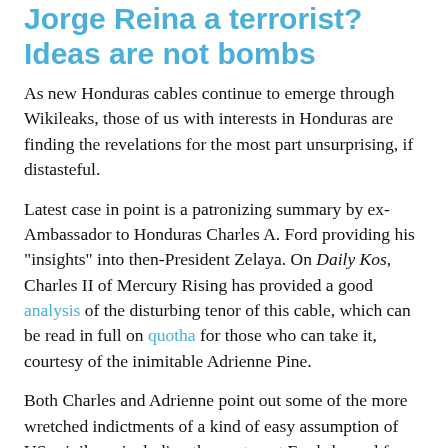Jorge Reina a terrorist? Ideas are not bombs
As new Honduras cables continue to emerge through Wikileaks, those of us with interests in Honduras are finding the revelations for the most part unsurprising, if distasteful.
Latest case in point is a patronizing summary by ex-Ambassador to Honduras Charles A. Ford providing his "insights" into then-President Zelaya. On Daily Kos, Charles II of Mercury Rising has provided a good analysis of the disturbing tenor of this cable, which can be read in full on quotha for those who can take it, courtesy of the inimitable Adrienne Pine.
Both Charles and Adrienne point out some of the more wretched indictments of a kind of easy assumption of US privilege, including the contempt Ford showed for Zelaya's roots in Olancho and Zelaya's apparent failure to understand that Tegucigalpa was not the big city, a role played in Ford's universe of model Honduran behavior by New Orleans or Miami. You know, where the Honduran elites go to shop so...